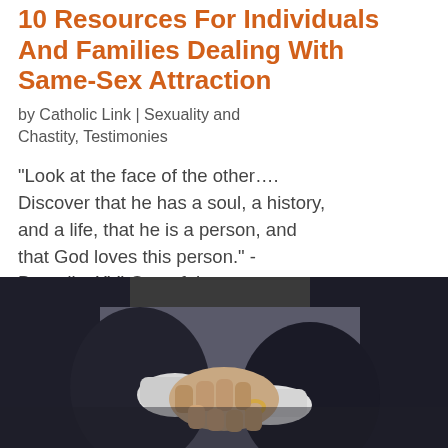10 Resources For Individuals And Families Dealing With Same-Sex Attraction
by Catholic Link | Sexuality and Chastity, Testimonies
“Look at the face of the other…. Discover that he has a soul, a history, and a life, that he is a person, and that God loves this person.” - Benedict XVI One of the most important services we hope to render in our media ministry at Catholic-Link is to connect our...
[Figure (photo): Two people in dark suits holding hands, close-up of handshake with a ring visible on one hand]